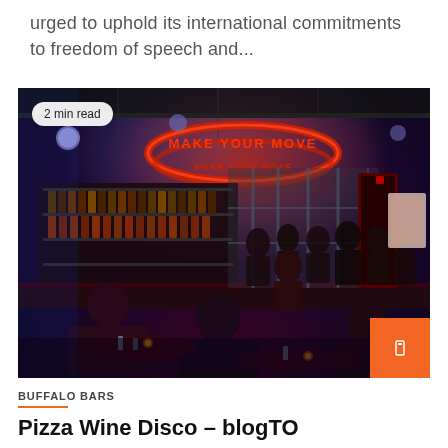urged to uphold its international commitments to freedom of speech and...
[Figure (photo): Interior of a nightclub/bar with neon signs reading 'MAKE YOUR MOVE' in red, people sitting at tables and standing near a bar, blue and red lighting atmosphere.]
2 min read
BUFFALO BARS
Pizza Wine Disco – blogTO